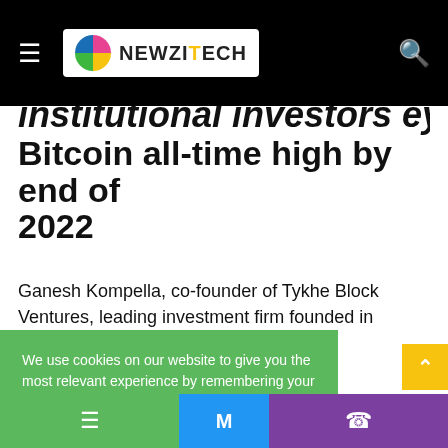NewziTech
institutional investors eye new Bitcoin all-time high by end of 2022
Ganesh Kompella, co-founder of Tykhe Block Ventures, leading investment firm founded in Singapore believes that,
We use cookies on our website to give you the most relevant experience by remembering your preferences and repeat visits. By clicking “Accept”, you consent to the use of ALL the cookies.
Do not sell my personal information.
Cookie settings   ACCEPT
ess of with r year in